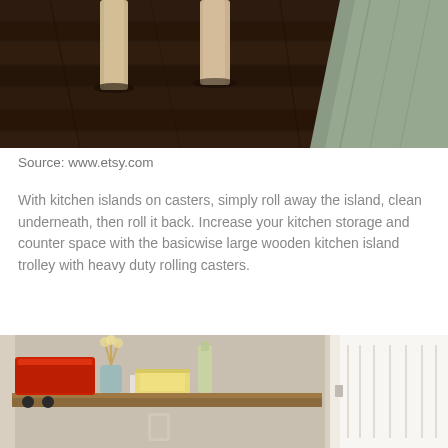[Figure (photo): Close-up photo of wooden furniture legs/table on dark hardwood floor with light wood elements]
Source: www.etsy.com
With kitchen islands on casters, simply roll away the island, clean underneath, then roll it back. Increase your kitchen storage and counter space with the basicwise large wooden kitchen island trolley with heavy duty rolling casters.
[Figure (photo): Kitchen shelving with items including red cookware, glass vase with dried flowers, books, bottles, and a white cabinet door to the right]